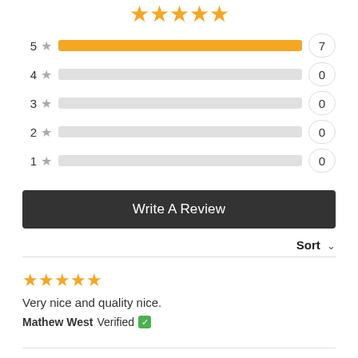[Figure (other): Five gold stars rating display at top of page]
[Figure (bar-chart): Rating distribution]
Write A Review
Sort
[Figure (other): Five gold stars for review rating]
Very nice and quality nice.
Mathew West Verified